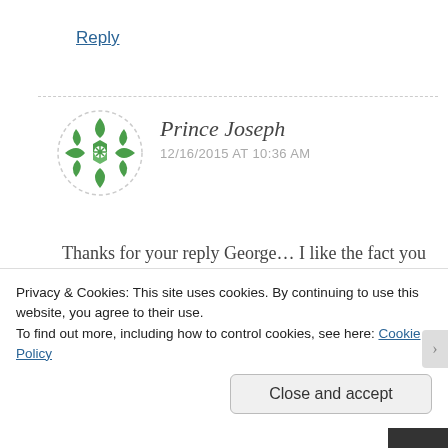Reply
[Figure (illustration): Green decorative avatar icon with geometric flower/snowflake pattern, circular dashed border]
Prince Joseph
12/16/2015 AT 10:36 AM
Thanks for your reply George... I like the fact you mentioned that ... it is ingrained in the culture of the Guyanese population. Now that's what I am talking about.. It
Privacy & Cookies: This site uses cookies. By continuing to use this website, you agree to their use.
To find out more, including how to control cookies, see here: Cookie Policy
Close and accept